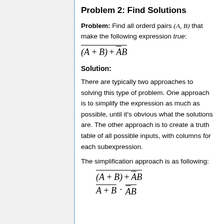Problem 2: Find Solutions
Problem: Find all orderd pairs (A, B) that make the following expression true:
Solution:
There are typically two approaches to solving this type of problem. One approach is to simplify the expression as much as possible, until it's obvious what the solutions are. The other approach is to create a truth table of all possible inputs, with columns for each subexpression.
The simplification approach is as following: